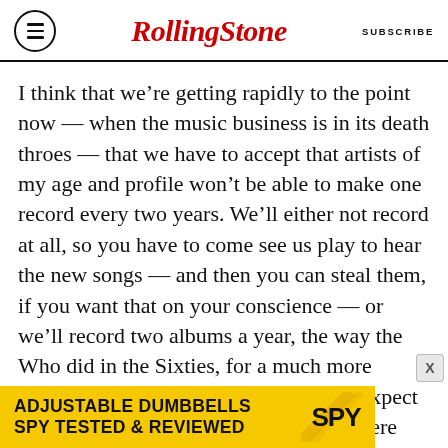RollingStone | SUBSCRIBE
I think that we’re getting rapidly to the point now — when the music business is in its death throes — that we have to accept that artists of my age and profile won’t be able to make one record every two years. We’ll either not record at all, so you have to come see us play to hear the new songs — and then you can steal them, if you want that on your conscience — or we’ll record two albums a year, the way the Who did in the Sixties, for a much more reasonable amount of money, but only expect to sell as much as jazz artists. That’s where rock & roll is now, and the record companies are not set up to deal with it. They
[Figure (infographic): Advertisement banner for Adjustable Dumbbells by SPY. Yellow background with bold black text reading 'ADJUSTABLE DUMBBELLS' and 'SPY TESTED & REVIEWED' with SPY logo in diagonal stripe design.]